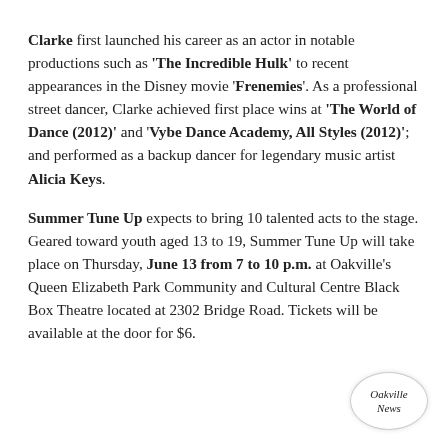Clarke first launched his career as an actor in notable productions such as 'The Incredible Hulk' to recent appearances in the Disney movie 'Frenemies'. As a professional street dancer, Clarke achieved first place wins at 'The World of Dance (2012)' and 'Vybe Dance Academy, All Styles (2012)'; and performed as a backup dancer for legendary music artist Alicia Keys.
Summer Tune Up expects to bring 10 talented acts to the stage. Geared toward youth aged 13 to 19, Summer Tune Up will take place on Thursday, June 13 from 7 to 10 p.m. at Oakville's Queen Elizabeth Park Community and Cultural Centre Black Box Theatre located at 2302 Bridge Road. Tickets will be available at the door for $6.
[Figure (logo): Oakville News circular logo with serif text]